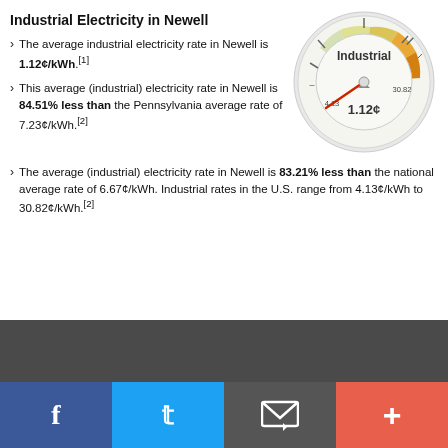Industrial Electricity in Newell
The average industrial electricity rate in Newell is 1.12¢/kWh.[1]
This average (industrial) electricity rate in Newell is 84.51% less than the Pennsylvania average rate of 7.23¢/kWh.[2]
[Figure (other): Gauge meter showing Industrial electricity rate of 1.12¢, with needle pointing low on a scale from 4.13 to 30.82]
The average (industrial) electricity rate in Newell is 83.21% less than the national average rate of 6.67¢/kWh. Industrial rates in the U.S. range from 4.13¢/kWh to 30.82¢/kWh.[2]
Facebook | Twitter | Email | More